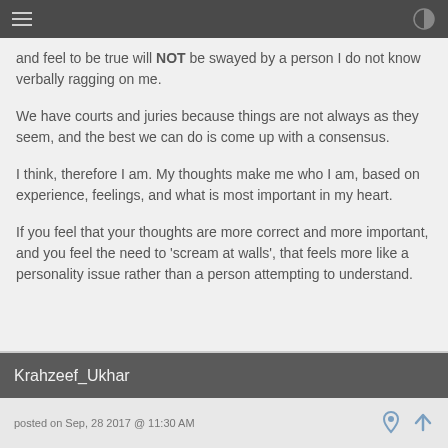and feel to be true will NOT be swayed by a person I do not know verbally ragging on me.
We have courts and juries because things are not always as they seem, and the best we can do is come up with a consensus.
I think, therefore I am. My thoughts make me who I am, based on experience, feelings, and what is most important in my heart.
If you feel that your thoughts are more correct and more important, and you feel the need to 'scream at walls', that feels more like a personality issue rather than a person attempting to understand.
Krahzeef_Ukhar
posted on Sep, 28 2017 @ 11:30 AM